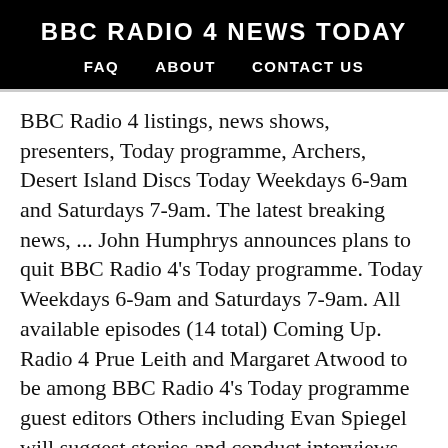BBC RADIO 4 NEWS TODAY
FAQ   ABOUT   CONTACT US
BBC Radio 4 listings, news shows, presenters, Today programme, Archers, Desert Island Discs Today Weekdays 6-9am and Saturdays 7-9am. The latest breaking news, ... John Humphrys announces plans to quit BBC Radio 4's Today programme. Today Weekdays 6-9am and Saturdays 7-9am. All available episodes (14 total) Coming Up. Radio 4 Prue Leith and Margaret Atwood to be among BBC Radio 4's Today programme guest editors Others including Evan Spiegel will suggest stories and conduct interviews between Boxing Day and new year